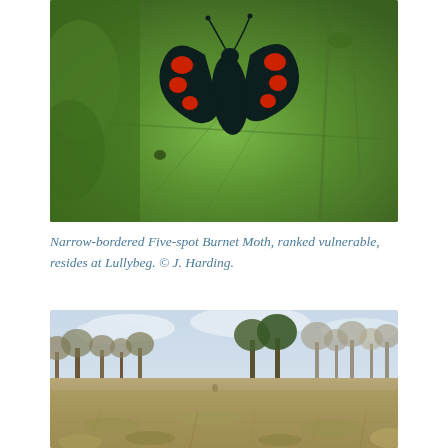[Figure (photo): Close-up photograph of a Narrow-bordered Five-spot Burnet Moth resting on a large green leaf. The moth has dark/black wings with red spots.]
Narrow-bordered Five-spot Burnet Moth, ranked vulnerable, resides at Lullybeg. © J. Harding.
[Figure (photo): Wide landscape photograph of Lullybeg showing open boggy grassland in the foreground with dry brownish grass, and mixed scrub woodland with bare trees in the background under an overcast sky.]